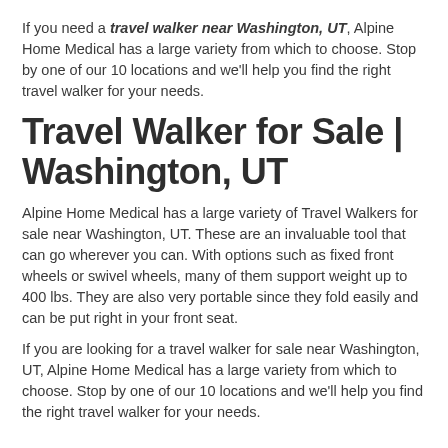If you need a travel walker near Washington, UT, Alpine Home Medical has a large variety from which to choose. Stop by one of our 10 locations and we'll help you find the right travel walker for your needs.
Travel Walker for Sale | Washington, UT
Alpine Home Medical has a large variety of Travel Walkers for sale near Washington, UT. These are an invaluable tool that can go wherever you can. With options such as fixed front wheels or swivel wheels, many of them support weight up to 400 lbs. They are also very portable since they fold easily and can be put right in your front seat.
If you are looking for a travel walker for sale near Washington, UT, Alpine Home Medical has a large variety from which to choose. Stop by one of our 10 locations and we'll help you find the right travel walker for your needs.